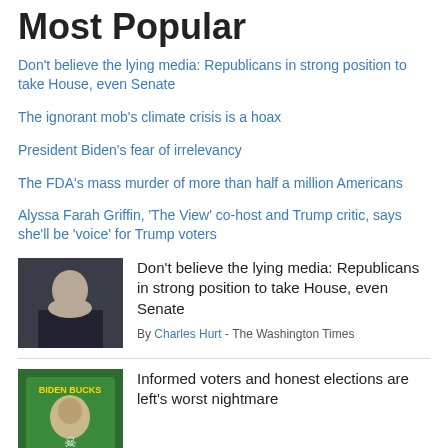Most Popular
Don't believe the lying media: Republicans in strong position to take House, even Senate
The ignorant mob's climate crisis is a hoax
President Biden's fear of irrelevancy
The FDA's mass murder of more than half a million Americans
Alyssa Farah Griffin, 'The View' co-host and Trump critic, says she'll be 'voice' for Trump voters
[Figure (photo): Woman seated at a desk in dark clothing]
Don't believe the lying media: Republicans in strong position to take House, even Senate
By Charles Hurt - The Washington Times
[Figure (photo): Biden Bucks green themed image with a face and skull]
Informed voters and honest elections are left's worst nightmare
[Figure (other): FIND SUV DEALS button - blue rounded rectangle button]